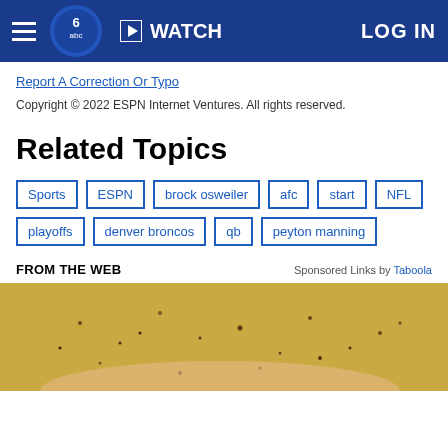WATCH | LOG IN
Report A Correction Or Typo
Copyright © 2022 ESPN Internet Ventures. All rights reserved.
Related Topics
Sports
ESPN
brock osweiler
afc
start
NFL
playoffs
denver broncos
qb
peyton manning
FROM THE WEB    Sponsored Links by Taboola
[Figure (photo): Close-up photo of a food item with spices/seasoning, golden-yellow color with brown speckles, held by a hand]